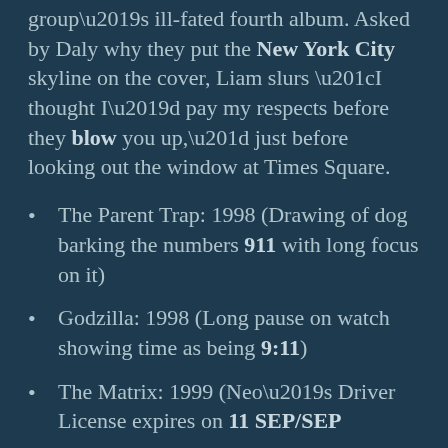group's ill-fated fourth album. Asked by Daly why they put the New York City skyline on the cover, Liam slurs “I thought I’d pay my respects before they blow you up,” just before looking out the window at Times Square.
The Parent Trap: 1998 (Drawing of dog barking the numbers 911 with long focus on it)
Godzilla: 1998 (Long pause on watch showing time as being 9:11)
The Matrix: 1999 (Neo’s Driver License expires on 11 SEP/SEP